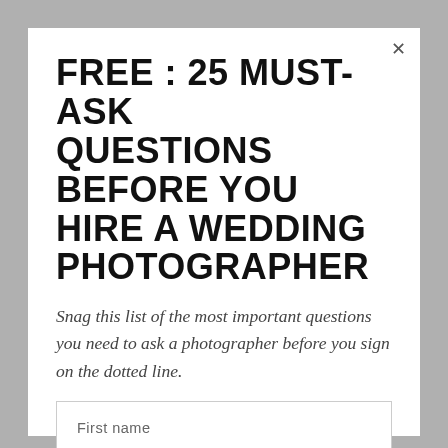FREE : 25 MUST-ASK QUESTIONS BEFORE YOU HIRE A WEDDING PHOTOGRAPHER
Snag this list of the most important questions you need to ask a photographer before you sign on the dotted line.
First name
Email address